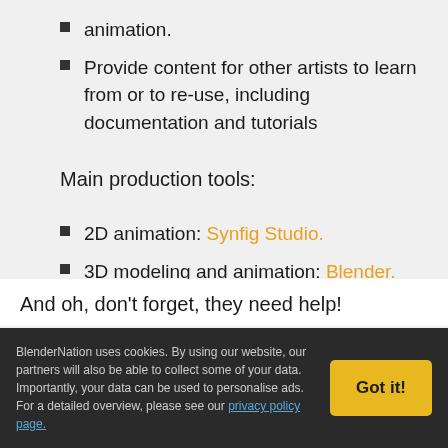animation.
Provide content for other artists to learn from or to re-use, including documentation and tutorials
Main production tools:
2D animation: Synfig Studio.
3D modeling and animation: Blender.
Static images: GIMP, Krita.
And oh, don't forget, they need help!
BlenderNation uses cookies. By using our website, our partners will also be able to collect some of your data. Importantly, your data can be used to personalise ads. For a detailed overview, please see our privacy policy page.